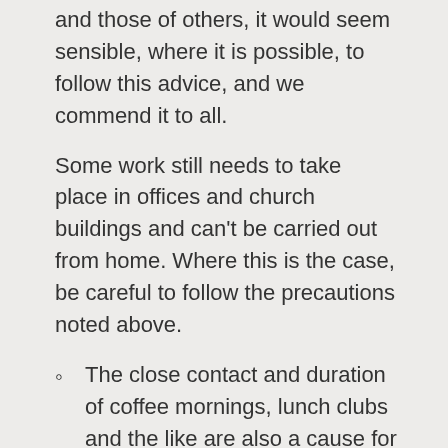and those of others, it would seem sensible, where it is possible, to follow this advice, and we commend it to all.
Some work still needs to take place in offices and church buildings and can't be carried out from home. Where this is the case, be careful to follow the precautions noted above.
The close contact and duration of coffee mornings, lunch clubs and the like are also a cause for concern. We do not feel the situation warrants a blanket closure, but Elders' Meetings must review the risk mitigation measures in place, including physical distancing and ventilation.
“Hospitality” settings are exempt from face covering regulations, but there are